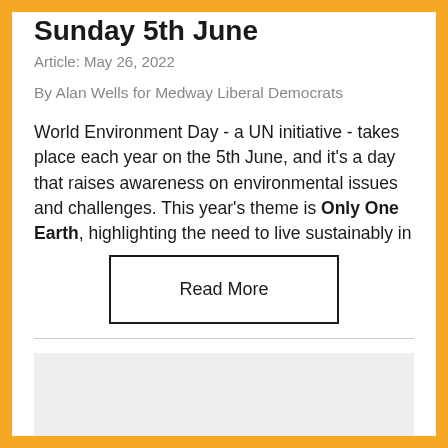Sunday 5th June
Article: May 26, 2022
By Alan Wells for Medway Liberal Democrats
World Environment Day - a UN initiative - takes place each year on the 5th June, and it's a day that raises awareness on environmental issues and challenges. This year's theme is Only One Earth, highlighting the need to live sustainably in...
Read More
[Figure (photo): Gray placeholder image area at bottom of page]